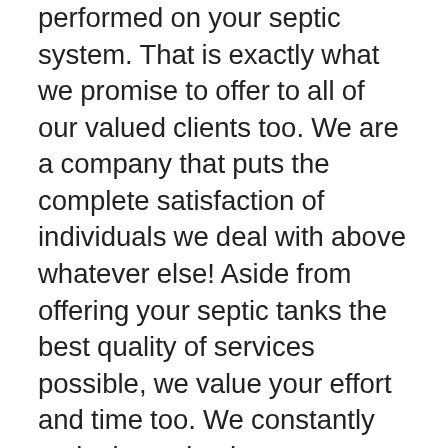performed on your septic system. That is exactly what we promise to offer to all of our valued clients too. We are a company that puts the complete satisfaction of individuals we deal with above whatever else! Aside from offering your septic tanks the best quality of services possible, we value your effort and time too. We constantly make it a point that we go above and beyond to finish each task as prompt and perfectly as we can. You can be confident that after we deal with your septic system, there will be nothing delegated stress over! In addition, we also require time to get you informed about your septic system. As the owner of the property, you need to understand how the system works and how you can tell if you need to call us once again. We desire